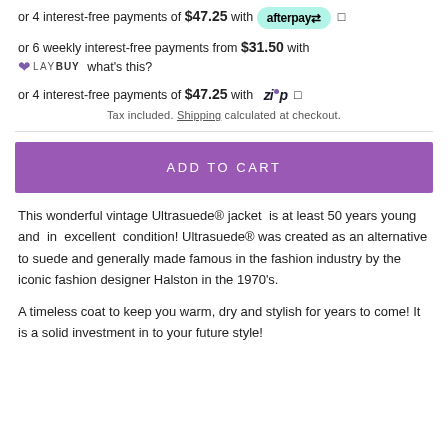or 4 interest-free payments of $47.25 with afterpay
or 6 weekly interest-free payments from $31.50 with LAYBUY what's this?
or 4 interest-free payments of $47.25 with ZIP
Tax included. Shipping calculated at checkout.
ADD TO CART
This wonderful vintage Ultrasuede® jacket is at least 50 years young and in excellent condition! Ultrasuede® was created as an alternative to suede and generally made famous in the fashion industry by the iconic fashion designer Halston in the 1970's.
A timeless coat to keep you warm, dry and stylish for years to come! It is a solid investment in to your future style!